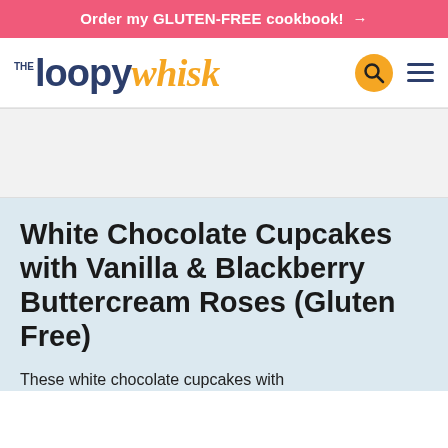Order my GLUTEN-FREE cookbook! →
[Figure (logo): The Loopy Whisk logo with search and hamburger menu icons]
[Figure (other): Advertisement placeholder area (gray background)]
White Chocolate Cupcakes with Vanilla & Blackberry Buttercream Roses (Gluten Free)
These white chocolate cupcakes with